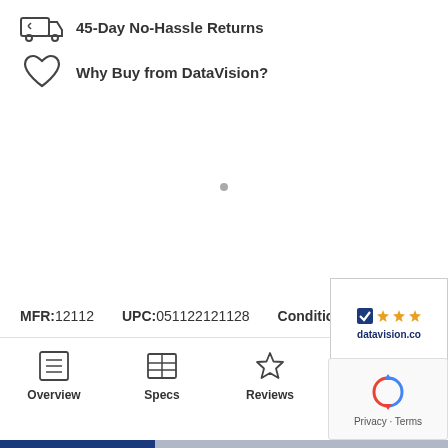45-Day No-Hassle Returns
Why Buy from DataVision?
MFR:12112  UPC:051122121128  Condition:New
Overview  Specs  Reviews  datavision.co